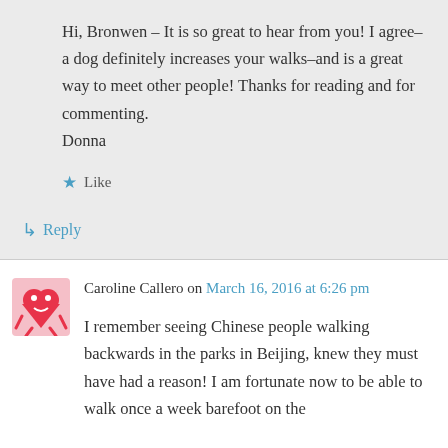Hi, Bronwen – It is so great to hear from you! I agree–a dog definitely increases your walks–and is a great way to meet other people! Thanks for reading and for commenting.
Donna
★ Like
↳ Reply
Caroline Callero on March 16, 2016 at 6:26 pm
I remember seeing Chinese people walking backwards in the parks in Beijing, knew they must have had a reason! I am fortunate now to be able to walk once a week barefoot on the